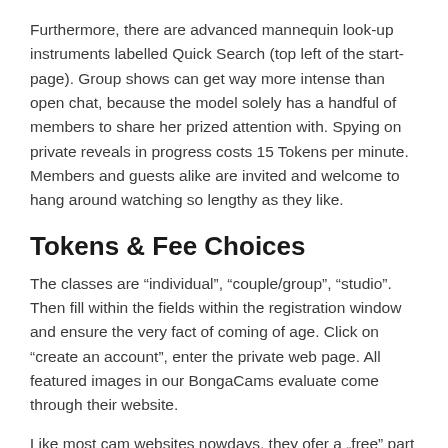Furthermore, there are advanced mannequin look-up instruments labelled Quick Search (top left of the start-page). Group shows can get way more intense than open chat, because the model solely has a handful of members to share her prized attention with. Spying on private reveals in progress costs 15 Tokens per minute. Members and guests alike are invited and welcome to hang around watching so lengthy as they like.
Tokens & Fee Choices
The classes are “individual”, “couple/group”, “studio”. Then fill within the fields within the registration window and ensure the very fact of coming of age. Click on “create an account”, enter the private web page. All featured images in our BongaCams evaluate come through their website.
Like most cam websites nowdays, they ofer a „free” part on the site where you'll be able to meet and